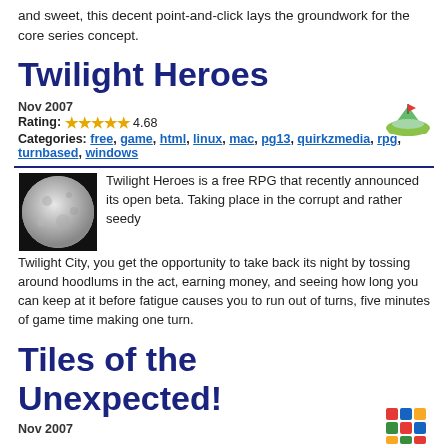and sweet, this decent point-and-click lays the groundwork for the core series concept.
Twilight Heroes
Nov 2007
Rating: 4.68
Categories: free, game, html, linux, mac, pg13, quirkzmedia, rpg, turnbased, windows
Twilight Heroes is a free RPG that recently announced its open beta. Taking place in the corrupt and rather seedy Twilight City, you get the opportunity to take back its night by tossing around hoodlums in the act, earning money, and seeing how long you can keep at it before fatigue causes you to run out of turns, five minutes of game time making one turn.
Tiles of the Unexpected!
Nov 2007